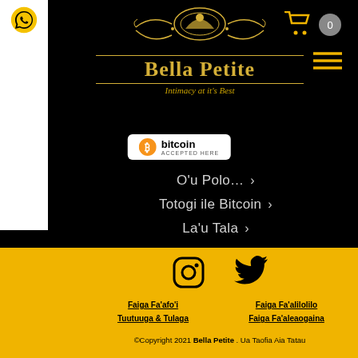[Figure (logo): Bella Petite logo with gold ornamental design, crown/woman silhouette, text 'Bella Petite' and italic subtitle 'Intimacy at it's Best' on black background]
[Figure (logo): Bitcoin Accepted Here badge - white rounded rectangle with Bitcoin orange logo and text]
O&#39;u Polo... >
Totogi ile Bitcoin >
La&#39;u Tala >
[Figure (other): Instagram and Twitter icons in black on yellow background in footer]
Faiga Fa&#39;afo&#39;i   Faiga Fa&#39;alilolilo
Tuutuuga &amp; Tulaga   Faiga Fa&#39;aleaogaina
©Copyright 2021 Bella Petite . Ua Taofia Aia Tatau